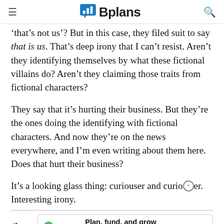Bplans
'that's not us'? But in this case, they filed suit to say that is us. That's deep irony that I can't resist. Aren't they identifying themselves by what these fictional villains do? Aren't they claiming those traits from fictional characters?
They say that it's hurting their business. But they're the ones doing the identifying with fictional characters. And now they're on the news everywhere, and I'm even writing about them here. Does that hurt their business?
It's a looking glass thing: curiouser and curiouser. Interesting irony.
(Imag